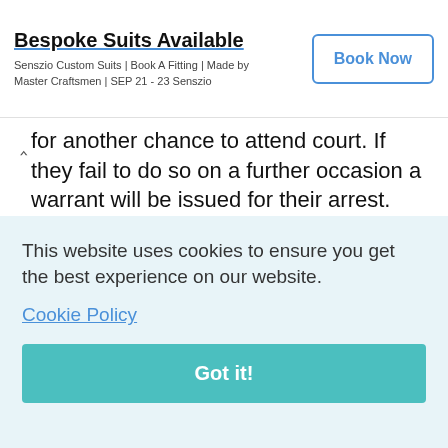[Figure (other): Advertisement banner: 'Bespoke Suits Available' by Senszio Custom Suits with a 'Book Now' button]
for another chance to attend court. If they fail to do so on a further occasion a warrant will be issued for their arrest.

If for whatever reason you, or the process server, has not been able to serve the order on the judgment debtor you must let the court
of
be in
ent
This website uses cookies to ensure you get the best experience on our website.
Cookie Policy
Got it!